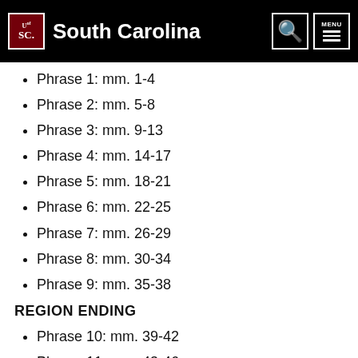University of South Carolina
Phrase 1: mm. 1-4
Phrase 2: mm. 5-8
Phrase 3: mm. 9-13
Phrase 4: mm. 14-17
Phrase 5: mm. 18-21
Phrase 6: mm. 22-25
Phrase 7: mm. 26-29
Phrase 8: mm. 30-34
Phrase 9: mm. 35-38
REGION ENDING
Phrase 10: mm. 39-42
Phrase 11: mm. 43-46
Phrase 12: mm. 47-...